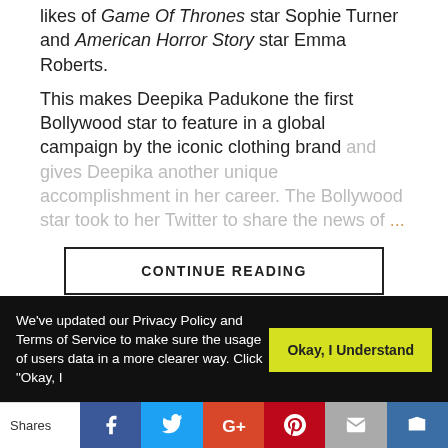likes of Game Of Thrones star Sophie Turner and American Horror Story star Emma Roberts.
This makes Deepika Padukone the first Bollywood star to feature in a global campaign by the iconic clothing brand and gives Deepika another unique accomplishment in her career. The Bollywood star took to her Twitter to share the news of ...
CONTINUE READING
ACTRESS
We've updated our Privacy Policy and Terms of Service to make sure the usage of users data in a more clearer way. Click "Okay, I
Okay, I Understand
Shares